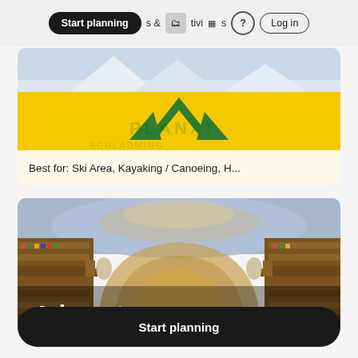Start planning  & Activities  ?  Log in
[Figure (photo): Planai ski area logo on yellow background with mountain scenery at top]
Best for: Ski Area, Kayaking / Canoeing, H...
[Figure (photo): Interior of Admont Abbey library with ornate baroque architecture, frescoed ceiling, and bookshelves]
Admont
Start planning